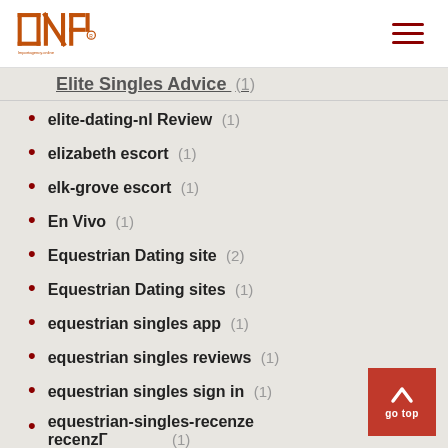INP logo and navigation
elite-dating-nl Review (1)
elizabeth escort (1)
elk-grove escort (1)
En Vivo (1)
Equestrian Dating site (2)
Equestrian Dating sites (1)
equestrian singles app (1)
equestrian singles reviews (1)
equestrian singles sign in (1)
equestrian-singles-recenze recenzГ (1)